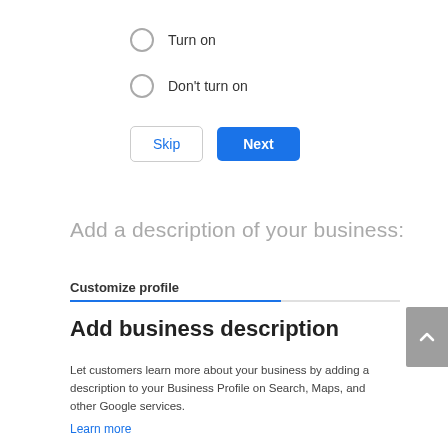Turn on
Don't turn on
Skip  Next
Add a description of your business:
Customize profile
Add business description
Let customers learn more about your business by adding a description to your Business Profile on Search, Maps, and other Google services.
Learn more